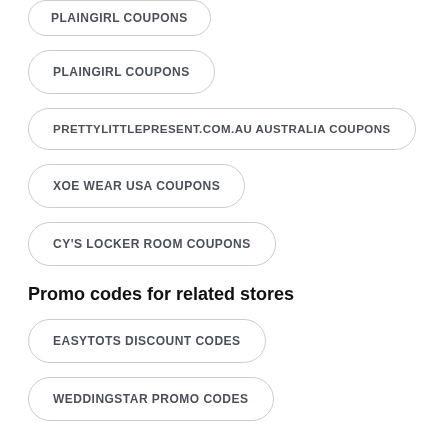PLAINGIRL COUPONS
PRETTYLITTLEPRESENT.COM.AU AUSTRALIA COUPONS
XOE WEAR USA COUPONS
CY'S LOCKER ROOM COUPONS
Promo codes for related stores
EASYTOTS DISCOUNT CODES
WEDDINGSTAR PROMO CODES